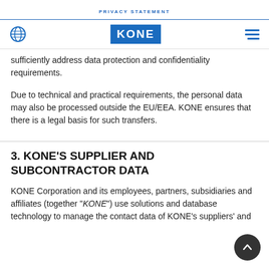PRIVACY STATEMENT
sufficiently address data protection and confidentiality requirements.
Due to technical and practical requirements, the personal data may also be processed outside the EU/EEA. KONE ensures that there is a legal basis for such transfers.
3. KONE'S SUPPLIER AND SUBCONTRACTOR DATA
KONE Corporation and its employees, partners, subsidiaries and affiliates (together “KONE”) use solutions and database technology to manage the contact data of KONE’s suppliers’ and